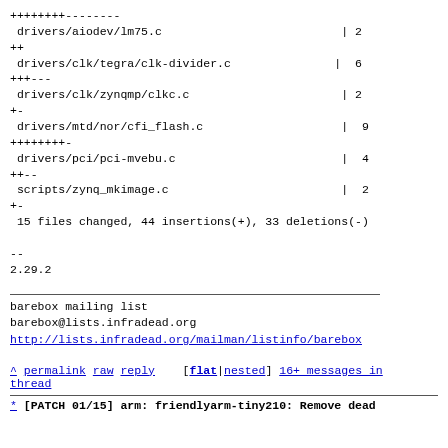++++++++--------
 drivers/aiodev/lm75.c                          |  2
++
 drivers/clk/tegra/clk-divider.c               |  6
+++---
 drivers/clk/zynqmp/clkc.c                      |  2
+-
 drivers/mtd/nor/cfi_flash.c                    |  9
++++++++-
 drivers/pci/pci-mvebu.c                        |  4
++--
 scripts/zynq_mkimage.c                         |  2
+-
 15 files changed, 44 insertions(+), 33 deletions(-)

--
2.29.2
barebox mailing list
barebox@lists.infradead.org
http://lists.infradead.org/mailman/listinfo/barebox
^ permalink raw reply  [flat|nested] 16+ messages in thread
* [PATCH 01/15] arm: friendlyarm-tiny210: Remove dead